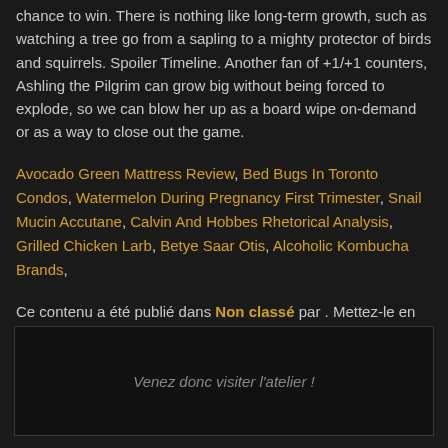chance to win. There is nothing like long-term growth, such as watching a tree go from a sapling to a mighty protector of birds and squirrels. Spoiler Timeline. Another fan of +1/+1 counters, Ashling the Pilgrim can grow big without being forced to explode, so we can blow her up as a board wipe on-demand or as a way to close out the game.
Avocado Green Mattress Review, Bed Bugs In Toronto Condos, Watermelon During Pregnancy First Trimester, Snail Mucin Accutane, Calvin And Hobbes Rhetorical Analysis, Grilled Chicken Larb, Betye Saar Otis, Alcoholic Kombucha Brands,
Ce contenu a été publié dans Non classé par . Mettez-le en favori avec son permalien.
Venez donc visiter l'atelier !